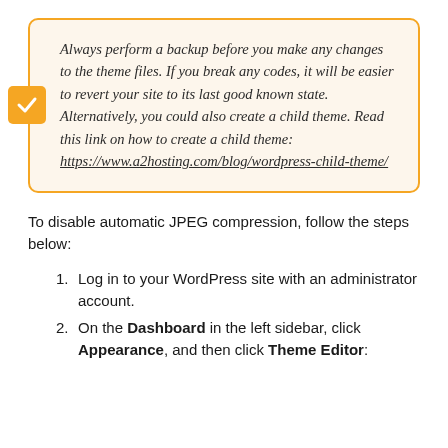Always perform a backup before you make any changes to the theme files. If you break any codes, it will be easier to revert your site to its last good known state. Alternatively, you could also create a child theme. Read this link on how to create a child theme: https://www.a2hosting.com/blog/wordpress-child-theme/
To disable automatic JPEG compression, follow the steps below:
Log in to your WordPress site with an administrator account.
On the Dashboard in the left sidebar, click Appearance, and then click Theme Editor: